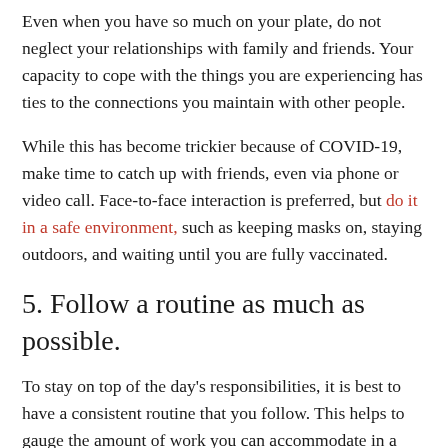Even when you have so much on your plate, do not neglect your relationships with family and friends. Your capacity to cope with the things you are experiencing has ties to the connections you maintain with other people.
While this has become trickier because of COVID-19, make time to catch up with friends, even via phone or video call. Face-to-face interaction is preferred, but do it in a safe environment, such as keeping masks on, staying outdoors, and waiting until you are fully vaccinated.
5. Follow a routine as much as possible.
To stay on top of the day's responsibilities, it is best to have a consistent routine that you follow. This helps to gauge the amount of work you can accommodate in a day and keeps